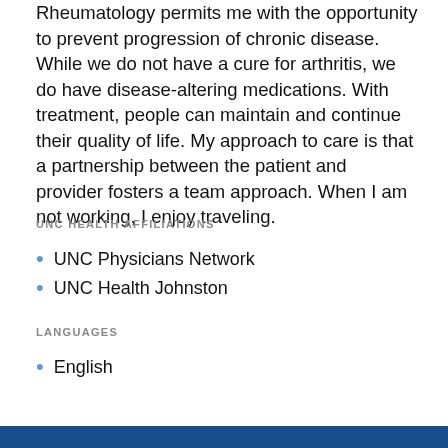Rheumatology permits me with the opportunity to prevent progression of chronic disease. While we do not have a cure for arthritis, we do have disease-altering medications. With treatment, people can maintain and continue their quality of life. My approach to care is that a partnership between the patient and provider fosters a team approach. When I am not working, I enjoy traveling.
UNC HEALTH AFFILIATIONS
UNC Physicians Network
UNC Health Johnston
LANGUAGES
English